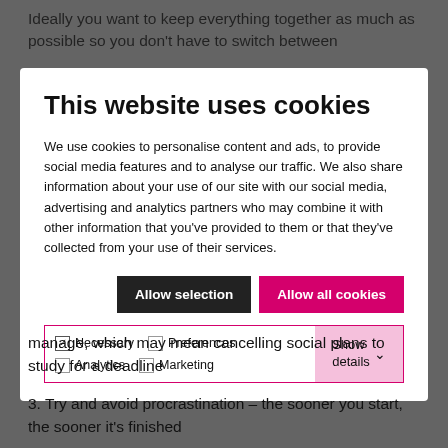Ideally you want to keep everything together as much as possible so you don't have to switch between
[Figure (screenshot): Cookie consent modal dialog with title 'This website uses cookies', body text about cookie usage, two buttons ('Allow selection' and 'Allow all cookies'), and a checkbox row with options: Necessary (checked), Preferences, Analytics, Marketing, and a 'Show details' button.]
manage, which may mean cancelling social plans to study for a deadline
3. Try and avoid procrastination – the sooner you start, the sooner it's finished